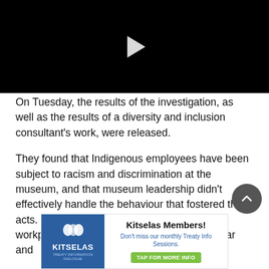[Figure (screenshot): Black video player with a white play button triangle in the center]
On Tuesday, the results of the investigation, as well as the results of a diversity and inclusion consultant's work, were released.
They found that Indigenous employees have been subject to racism and discrimination at the museum, and that museum leadership didn't effectively handle the behaviour that fostered these acts. Many staff, the report stated, found the workplace to be toxic and characterized by fear and
[Figure (infographic): Kitselas Members advertisement banner. Left side has blue background with Kitselas logo and text. Right side has bold text 'Kitselas Members! Don't miss our monthly Treaty Info Sessions.' with a green button 'TAP FOR MORE INFO']